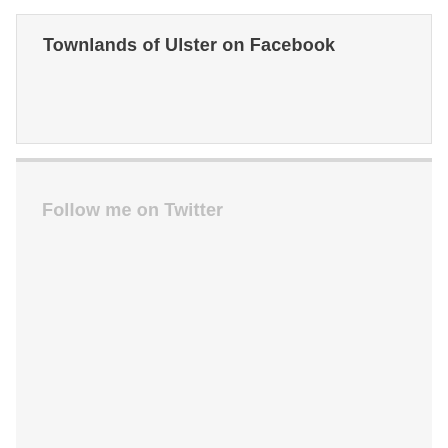Townlands of Ulster on Facebook
Follow me on Twitter